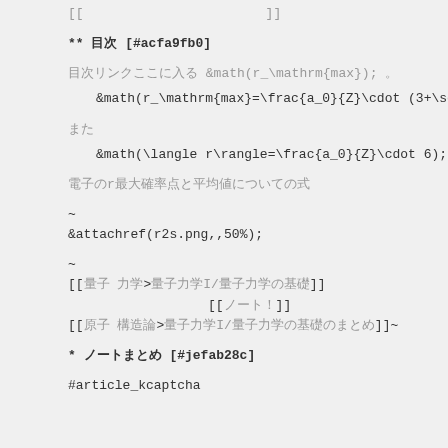[[　　　　　　　　　　　　　　]]
** 目次 [#acfa9fb0]
目次リンクここに入る &math(r_\mathrm{max}); 。
また
電子のr最大確率点と平均値についての式
~
&attachref(r2s.png,,50%);
~
[[量子 力学>量子力学I/量子力学の基礎]]
                        [[ノート！]]
[[原子 構造論>量子力学I/量子力学の基礎のまとめ]]~
* ノートまとめ [#jefab28c]
#article_kcaptcha